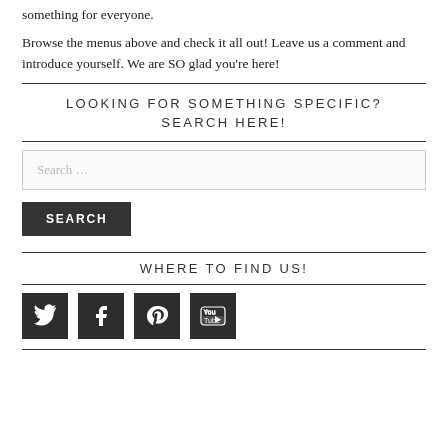something for everyone.
Browse the menus above and check it all out! Leave us a comment and introduce yourself. We are SO glad you’re here!
LOOKING FOR SOMETHING SPECIFIC? SEARCH HERE!
[Figure (other): Search input box with placeholder text 'Search ...']
[Figure (other): Search button with label SEARCH]
WHERE TO FIND US!
[Figure (other): Social media icons: Twitter, Facebook, Pinterest, YouTube]